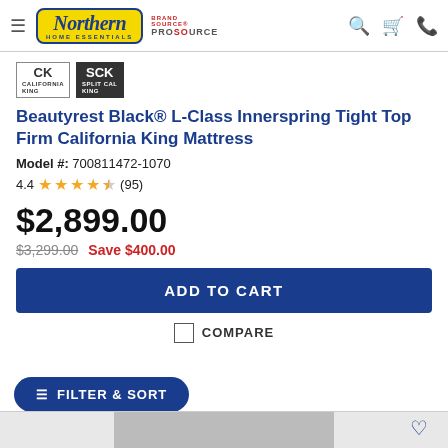Northern Home Essentials — BrandSource / ProSource header navigation
[Figure (logo): Northern Home Essentials logo with yellow background and blue text, BrandSource and ProSource logos to the right]
[Figure (logo): CK and SCK size selector badges]
Beautyrest Black® L-Class Innerspring Tight Top Firm California King Mattress
Model #: 700811472-1070
4.4 ★★★★☆ (95)
$2,899.00
$3,299.00  Save $400.00
ADD TO CART
COMPARE
FILTER & SORT